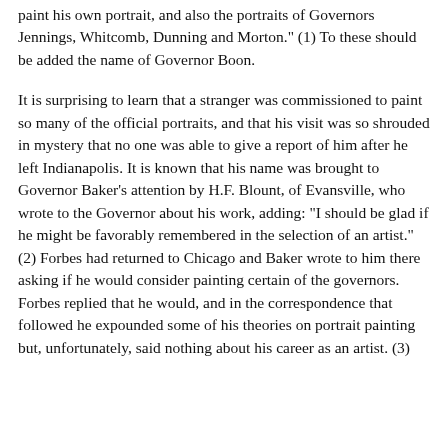paint his own portrait, and also the portraits of Governors Jennings, Whitcomb, Dunning and Morton." (1) To these should be added the name of Governor Boon.
It is surprising to learn that a stranger was commissioned to paint so many of the official portraits, and that his visit was so shrouded in mystery that no one was able to give a report of him after he left Indianapolis. It is known that his name was brought to Governor Baker's attention by H.F. Blount, of Evansville, who wrote to the Governor about his work, adding: "I should be glad if he might be favorably remembered in the selection of an artist." (2) Forbes had returned to Chicago and Baker wrote to him there asking if he would consider painting certain of the governors. Forbes replied that he would, and in the correspondence that followed he expounded some of his theories on portrait painting but, unfortunately, said nothing about his career as an artist. (3)